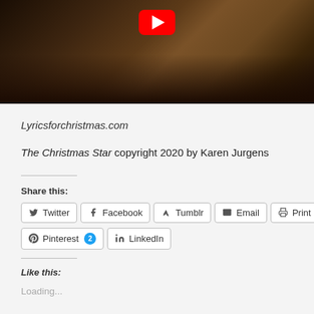[Figure (photo): YouTube video thumbnail showing choir members in white robes at music stands in a church, with a red YouTube play button visible at top center]
Lyricsforchristmas.com
The Christmas Star copyright 2020 by Karen Jurgens
Share this:
Twitter Facebook Tumblr Email Print
Pinterest 2 LinkedIn
Like this:
Loading...